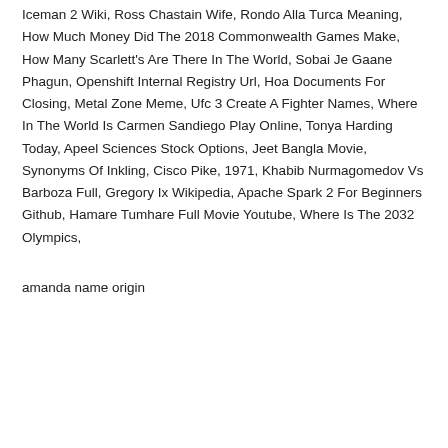Iceman 2 Wiki, Ross Chastain Wife, Rondo Alla Turca Meaning, How Much Money Did The 2018 Commonwealth Games Make, How Many Scarlett's Are There In The World, Sobai Je Gaane Phagun, Openshift Internal Registry Url, Hoa Documents For Closing, Metal Zone Meme, Ufc 3 Create A Fighter Names, Where In The World Is Carmen Sandiego Play Online, Tonya Harding Today, Apeel Sciences Stock Options, Jeet Bangla Movie, Synonyms Of Inkling, Cisco Pike, 1971, Khabib Nurmagomedov Vs Barboza Full, Gregory Ix Wikipedia, Apache Spark 2 For Beginners Github, Hamare Tumhare Full Movie Youtube, Where Is The 2032 Olympics,
amanda name origin